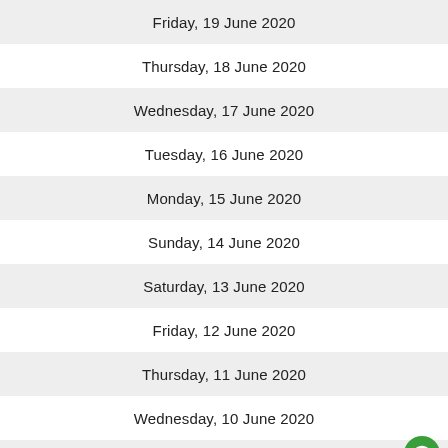Friday, 19 June 2020
Thursday, 18 June 2020
Wednesday, 17 June 2020
Tuesday, 16 June 2020
Monday, 15 June 2020
Sunday, 14 June 2020
Saturday, 13 June 2020
Friday, 12 June 2020
Thursday, 11 June 2020
Wednesday, 10 June 2020
Tuesday, 09 June 2020